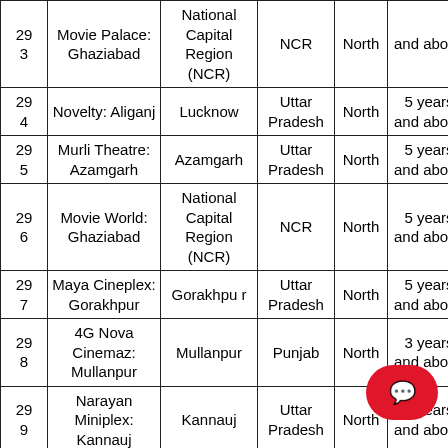| # | Cinema | City/District | State | Zone | Minimum Age | License Age |
| --- | --- | --- | --- | --- | --- | --- |
| 29 3 | Movie Palace: Ghaziabad | National Capital Region (NCR) | NCR | North | and above | 18 years |
| 29 4 | Novelty: Aliganj | Lucknow | Uttar Pradesh | North | 5 years and above | 18 years |
| 29 5 | Murli Theatre: Azamgarh | Azamgarh | Uttar Pradesh | North | 5 years and above | 18 years |
| 29 6 | Movie World: Ghaziabad | National Capital Region (NCR) | NCR | North | 5 years and above | 18 years |
| 29 7 | Maya Cineplex: Gorakhpur | Gorakhpur | Uttar Pradesh | North | 5 years and above | 18 years |
| 29 8 | 4G Nova Cinemaz: Mullanpur | Mullanpur | Punjab | North | 3 years and above | 18 |
| 29 9 | Narayan Miniplex: Kannauj | Kannauj | Uttar Pradesh | North | 5 years and above | 18 years |